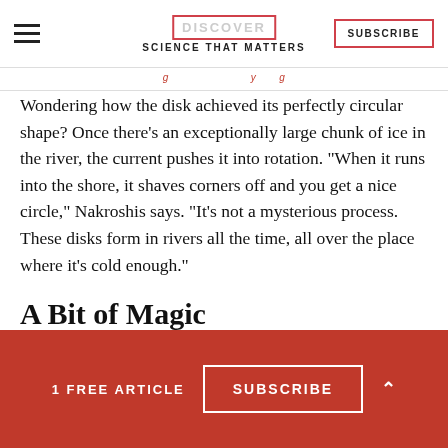SCIENCE THAT MATTERS | SUBSCRIBE
Wondering how the disk achieved its perfectly circular shape? Once there's an exceptionally large chunk of ice in the river, the current pushes it into rotation. “When it runs into the shore, it shaves corners off and you get a nice circle,” Nakroshis says. “It’s not a mysterious process. These disks form in rivers all the time, all over the place where it’s cold enough.”
A Bit of Magic
1 FREE ARTICLE  SUBSCRIBE